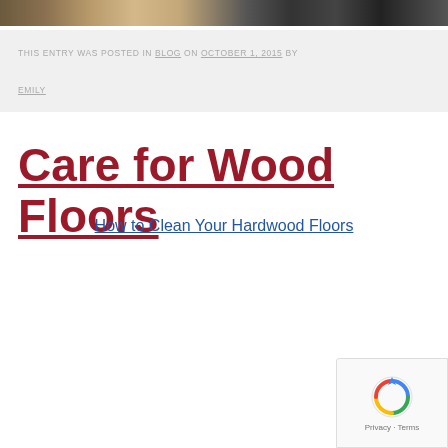[Figure (photo): Partial photograph strip at top of page showing a wooden surface scene]
THIS ENTRY WAS POSTED IN BLOG ON OCTOBER 1, 2015 BY EMILY
Care for Wood Floors
How to Clean Your Hardwood Floors
[Figure (other): reCAPTCHA badge with spinning arrows logo and Privacy - Terms text]